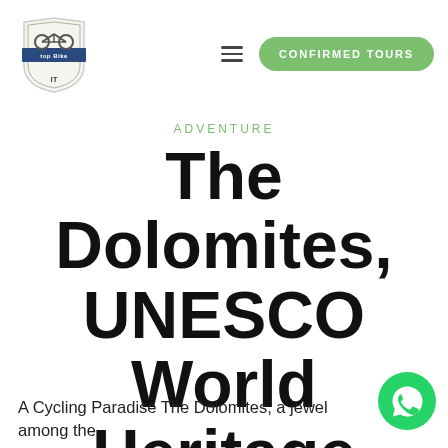[Figure (logo): Top Bike Tour Italy logo — shield/badge shape with bike illustration and banner text]
≡  CONFIRMED TOURS
ADVENTURE
The Dolomites, UNESCO World Heritage sites
A Cycling Paradise The Dolomites, a jewel among the
[Figure (logo): WhatsApp circular green button icon]